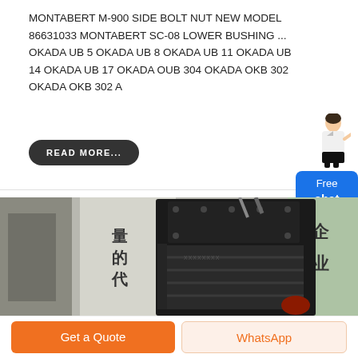MONTABERT M-900 SIDE BOLT NUT NEW MODEL 86631033 MONTABERT SC-08 LOWER BUSHING ... OKADA UB 5 OKADA UB 8 OKADA UB 11 OKADA UB 14 OKADA UB 17 OKADA OUB 304 OKADA OKB 302 OKADA OKB 302 A
READ MORE...
[Figure (photo): Industrial crusher/breaking machine, large black metal equipment photographed in a factory or trade show setting with Chinese text banners in background]
Get a Quote
WhatsApp